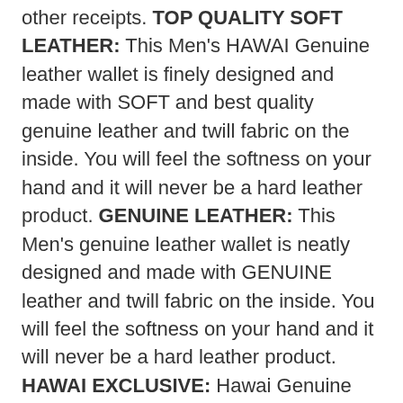other receipts. TOP QUALITY SOFT LEATHER: This Men's HAWAI Genuine leather wallet is finely designed and made with SOFT and best quality genuine leather and twill fabric on the inside. You will feel the softness on your hand and it will never be a hard leather product. GENUINE LEATHER: This Men's genuine leather wallet is neatly designed and made with GENUINE leather and twill fabric on the inside. You will feel the softness on your hand and it will never be a hard leather product. HAWAI EXCLUSIVE: Hawai Genuine leather wallet is designed to accommodate all your needs, Exclusive high quality leather is used, Conveninetly compact dimension to fit perfectly in to your pocket, Durable clothe lining used
#Hawai #Men #Casual #Black #Red #Genuine